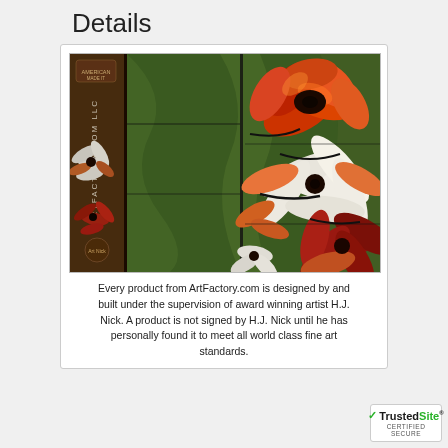Details
[Figure (photo): Stained glass artwork featuring colorful flowers in red, orange, white on a green background. Shows two panels side by side. Left panel has vertical text reading ArtFactory.com LLC. The artwork is lit from behind creating a vibrant stained glass window effect.]
Every product from ArtFactory.com is designed by and built under the supervision of award winning artist H.J. Nick. A product is not signed by H.J. Nick until he has personally found it to meet all world class fine art standards.
[Figure (logo): TrustedSite Certified Secure badge]